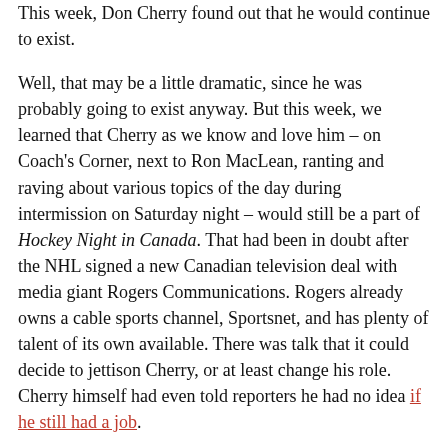This week, Don Cherry found out that he would continue to exist.
Well, that may be a little dramatic, since he was probably going to exist anyway. But this week, we learned that Cherry as we know and love him – on Coach's Corner, next to Ron MacLean, ranting and raving about various topics of the day during intermission on Saturday night – would still be a part of Hockey Night in Canada. That had been in doubt after the NHL signed a new Canadian television deal with media giant Rogers Communications. Rogers already owns a cable sports channel, Sportsnet, and has plenty of talent of its own available. There was talk that it could decide to jettison Cherry, or at least change his role. Cherry himself had even told reporters he had no idea if he still had a job.
Thankfully, he still does, as we learned from this week's unveiling of the new Hockey Night in Canada "dream team"